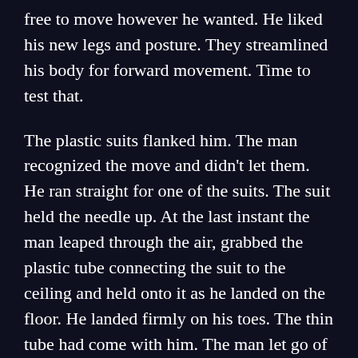free to move however he wanted. He liked his new legs and posture. They streamlined his body for forward movement. Time to test that.
The plastic suits flanked him. The man recognized the move and didn't let them. He ran straight for one of the suits. The suit held the needle up. At the last instant the man leaped through the air, grabbed the plastic tube connecting the suit to the ceiling and held onto it as he landed on the floor. He landed firmly on his toes. The thin tube had come with him. The man let go of the tube, and it retracted into the ceiling, pulling taut above the suit.
The man dashed to the table. He looked over the tools and sure enough there were many knives. He picked two of them up and held one in each hand. He didn't pause to